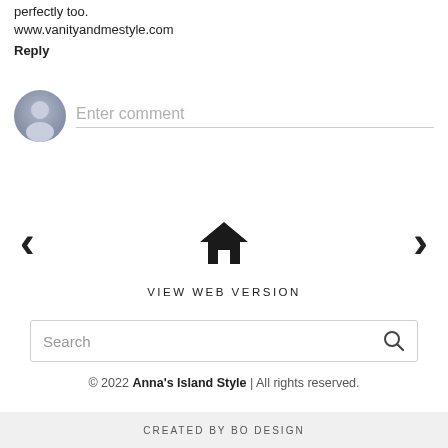perfectly too.
www.vanityandmestyle.com
Reply
[Figure (illustration): Comment input area with avatar icon placeholder and 'Enter comment' placeholder text with underline]
[Figure (illustration): Navigation bar with left arrow, house/home icon in center, right arrow]
VIEW WEB VERSION
[Figure (illustration): Search input box with 'Search' placeholder text and magnifying glass icon]
© 2022 Anna's Island Style | All rights reserved.
CREATED BY bo design